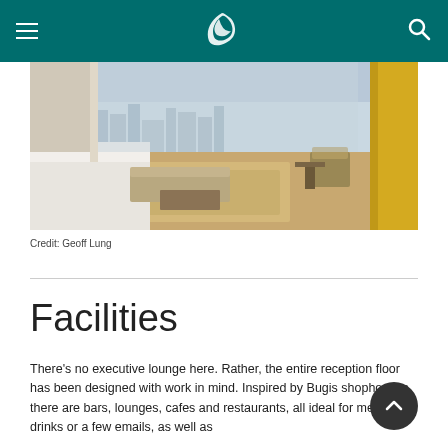Cathay Pacific navigation bar with hamburger menu, logo, and search icon
[Figure (photo): Hotel room interior with city skyline view, wooden floors, a daybed, and yellow accented curtains]
Credit: Geoff Lung
Facilities
There's no executive lounge here. Rather, the entire reception floor has been designed with work in mind. Inspired by Bugis shophouses, there are bars, lounges, cafes and restaurants, all ideal for meetings, drinks or a few emails, as well as